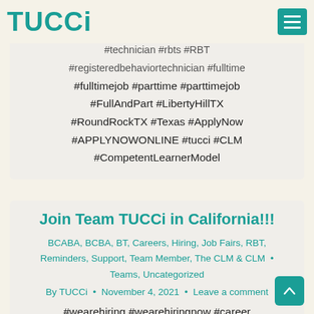TUCCi
#technician #rbts #RBT #registeredbehaviortechnician #fulltime #fulltimejob #parttime #parttimejob #FullAndPart #LibertyHillTX #RoundRockTX #Texas #ApplyNow #APPLYNOWONLINE #tucci #CLM #CompetentLearnerModel
Join Team TUCCi in California!!!
BCABA, BCBA, BT, Careers, Hiring, Job Fairs, RBT, Reminders, Support, Team Member, The CLM & CLM • Teams, Uncategorized
By TUCCi • November 4, 2021 • Leave a comment
#wearehiring #wearehiringnow #career #careers #CareerSearch #aba #BTS